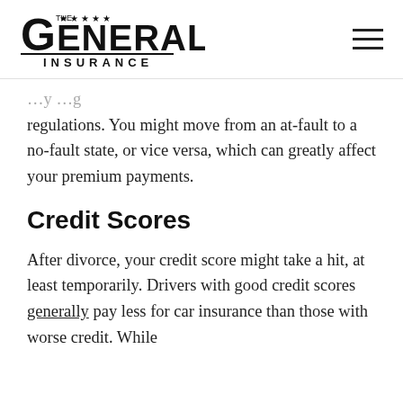The General Insurance
regulations. You might move from an at-fault to a no-fault state, or vice versa, which can greatly affect your premium payments.
Credit Scores
After divorce, your credit score might take a hit, at least temporarily. Drivers with good credit scores generally pay less for car insurance than those with worse credit. While